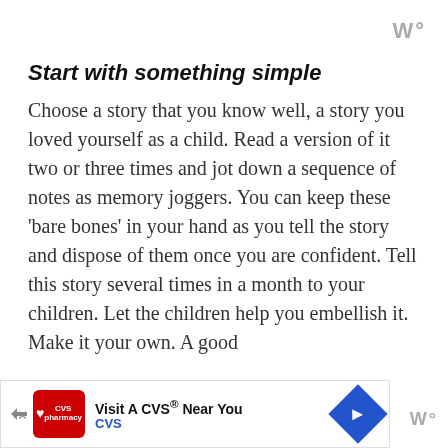W°
Start with something simple
Choose a story that you know well, a story you loved yourself as a child. Read a version of it two or three times and jot down a sequence of notes as memory joggers. You can keep these 'bare bones' in your hand as you tell the story and dispose of them once you are confident. Tell this story several times in a month to your children. Let the children help you embellish it. Make it your own. A good
[Figure (other): CVS Pharmacy advertisement banner at bottom of page with logo, 'Visit A CVS® Near You' text, navigation arrow icon, and close button]